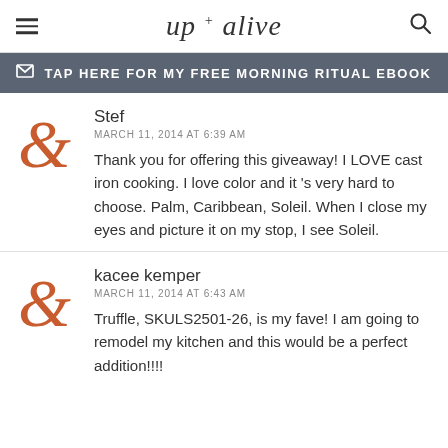up + alive
TAP HERE FOR MY FREE MORNING RITUAL EBOOK
Stef
MARCH 11, 2014 AT 6:39 AM
Thank you for offering this giveaway! I LOVE cast iron cooking. I love color and it 's very hard to choose. Palm, Caribbean, Soleil. When I close my eyes and picture it on my stop, I see Soleil.
kacee kemper
MARCH 11, 2014 AT 6:43 AM
Truffle, SKULS2501-26, is my fave! I am going to remodel my kitchen and this would be a perfect addition!!!!